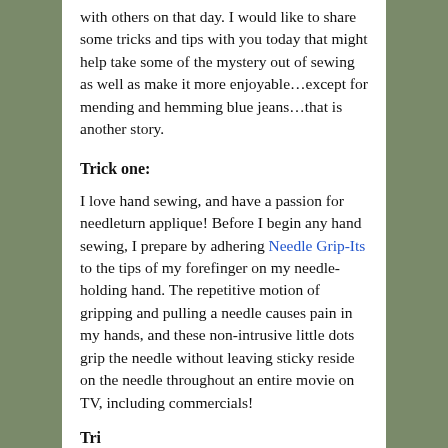with others on that day. I would like to share some tricks and tips with you today that might help take some of the mystery out of sewing as well as make it more enjoyable…except for mending and hemming blue jeans…that is another story.
Trick one:
I love hand sewing, and have a passion for needleturn applique! Before I begin any hand sewing, I prepare by adhering Needle Grip-Its to the tips of my forefinger on my needle-holding hand. The repetitive motion of gripping and pulling a needle causes pain in my hands, and these non-intrusive little dots grip the needle without leaving sticky reside on the needle throughout an entire movie on TV, including commercials!
Trick two: